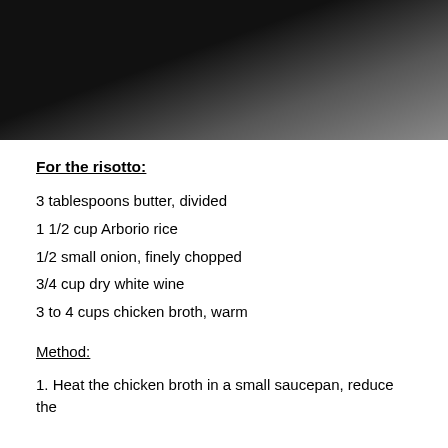[Figure (photo): Black and white close-up photograph of a dark bowl or pot, partially in shadow]
For the risotto:
3 tablespoons butter, divided
1 1/2 cup Arborio rice
1/2 small onion, finely chopped
3/4 cup dry white wine
3 to 4 cups chicken broth, warm
Method:
1. Heat the chicken broth in a small saucepan, reduce the heat to simmer and keep warm over low heat.